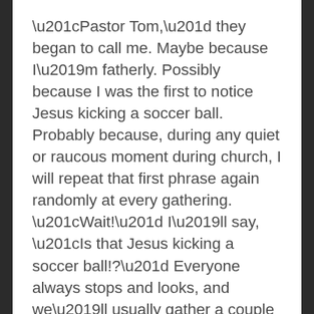“Pastor Tom,” they began to call me. Maybe because I’m fatherly. Possibly because I was the first to notice Jesus kicking a soccer ball. Probably because, during any quiet or raucous moment during church, I will repeat that first phrase again randomly at every gathering. “Wait!” I’ll say, “Is that Jesus kicking a soccer ball!?” Everyone always stops and looks, and we’ll usually gather a couple of newcomers to the awe that day.
So I became “Pastor Tom.” The head of the church.